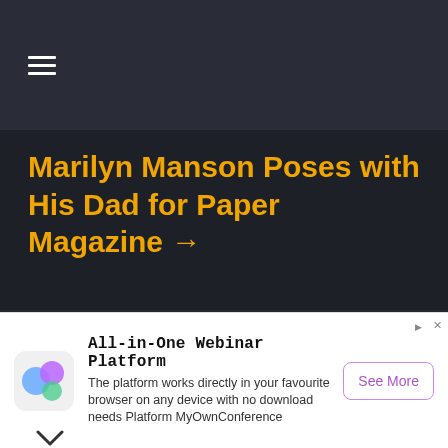☰
Marilyn Manson Poses with His Dad for Paper Magazine →
[Figure (photo): Circular headshot photo of Alan Cross, a man with blond/light brown hair wearing a dark shirt, against a dark background]
Alan Cross is an internationally known broadcaster, interviewer, writer, consultant, blogger and speaker. In his 40+ years in the music business,
All-in-One Webinar Platform The platform works directly in your favourite browser on any device with no download needs Platform MyOwnConference See More